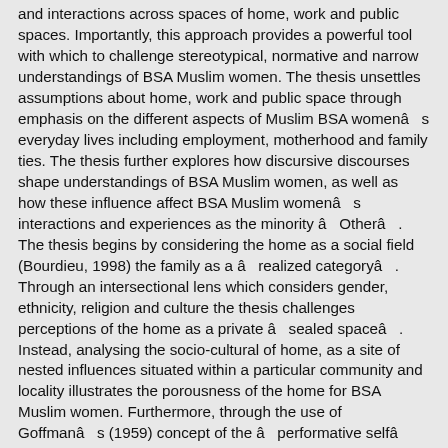and interactions across spaces of home, work and public spaces. Importantly, this approach provides a powerful tool with which to challenge stereotypical, normative and narrow understandings of BSA Muslim women. The thesis unsettles assumptions about home, work and public space through emphasis on the different aspects of Muslim BSA womenâs everyday lives including employment, motherhood and family ties. The thesis further explores how discursive discourses shape understandings of BSA Muslim women, as well as how these influence affect BSA Muslim womenâs interactions and experiences as the minority âOtherâ. The thesis begins by considering the home as a social field (Bourdieu, 1998) the family as a ârealized categoryâ. Through an intersectional lens which considers gender, ethnicity, religion and culture the thesis challenges perceptions of the home as a private âsealed spaceâ. Instead, analysing the socio-cultural of home, as a site of nested influences situated within a particular community and locality illustrates the porousness of the home for BSA Muslim women. Furthermore, through the use of Goffmanâs (1959) concept of the âperformative selfâ the home is further troubled, as a space where women must continuously perform in